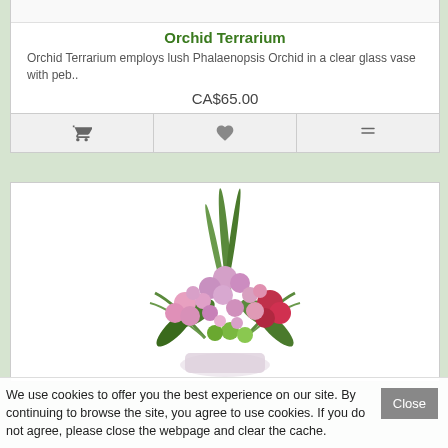Orchid Terrarium
Orchid Terrarium employs lush Phalaenopsis Orchid in a clear glass vase with peb..
CA$65.00
[Figure (photo): Flower arrangement with pink and red flowers in a triangular arrangement]
We use cookies to offer you the best experience on our site. By continuing to browse the site, you agree to use cookies. If you do not agree, please close the webpage and clear the cache.